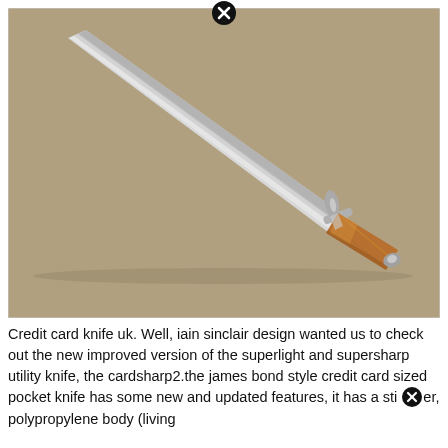[Figure (photo): A short sword or falchion-style knife with a polished silver steel blade and a wooden handle with a metal crossguard, photographed on a tan/beige cardboard background.]
Credit card knife uk. Well, iain sinclair design wanted us to check out the new improved version of the superlight and supersharp utility knife, the cardsharp2.the james bond style credit card sized pocket knife has some new and updated features, it has a stiffer, polypropylene body (living hinges guaranteed for lifetime and a nicer, safer, better...